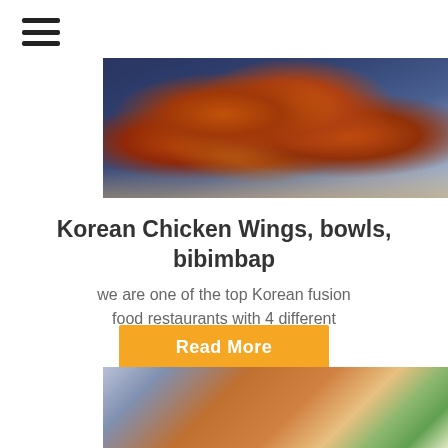[Figure (photo): Top food photo showing Korean chicken wings on a dark blue plate with cloth underneath, warm orange-brown tones]
Korean Chicken Wings, bowls, bibimbap
we are one of the top Korean fusion food restaurants with 4 different locations.
Read More
[Figure (photo): Bottom food photo showing Korean chicken wings with celery sticks and a dipping sauce in a metal cup, on a dark plate with striped cloth]